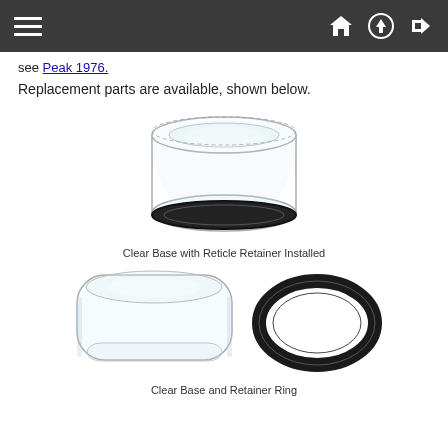Navigation bar with hamburger menu, home, upload, and login icons
see Peak 1976.
Replacement parts are available, shown below.
[Figure (photo): Clear cylindrical glass base with black reticle retainer ring installed at the bottom]
Clear Base with Reticle Retainer Installed
[Figure (photo): Clear rectangular/rounded glass base on left and a separate black retainer ring on the right]
Clear Base and Retainer Ring